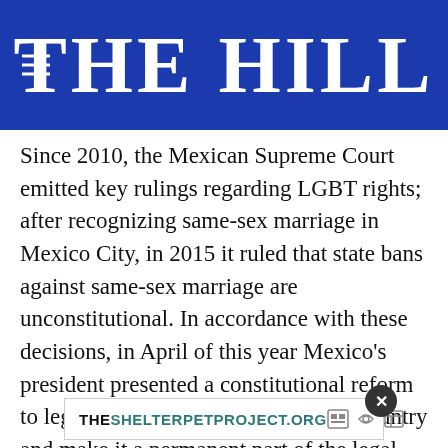THE HILL
Since 2010, the Mexican Supreme Court emitted key rulings regarding LGBT rights; after recognizing same-sex marriage in Mexico City, in 2015 it ruled that state bans against same-sex marriage are unconstitutional. In accordance with these decisions, in April of this year Mexico’s president presented a constitutional reform to legalize same-sex marriage in the country and make it a permanent part of the legal code. These national changes have impacted Mexico’s foreign policy, and over the years there have been a formal framework to connect with LGBT Mexicans
[Figure (other): Advertisement overlay for THESHELTERPETPROJECT.ORG with close button and ad icons]